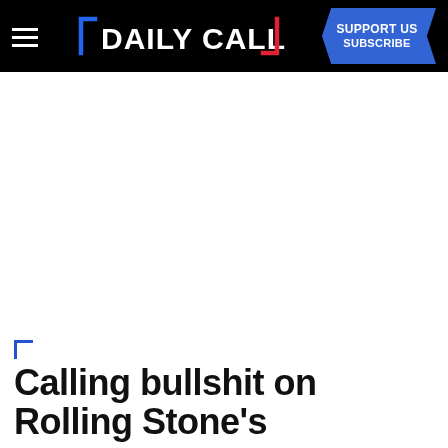Daily Caller — SUPPORT US SUBSCRIBE
Calling bullshit on Rolling Stone's